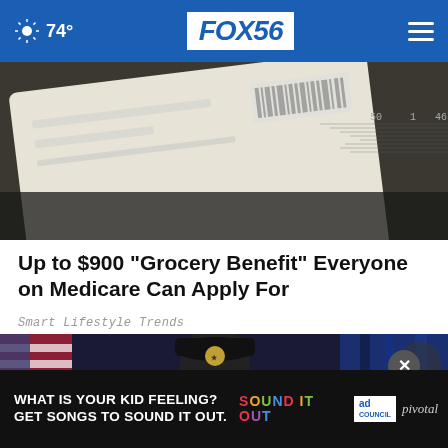74° FOX56
[Figure (photo): Close-up photo of a Medicare or insurance card, partially visible, with a dark background]
Up to $900 "Grocery Benefit" Everyone on Medicare Can Apply For
Smart Lifestyle Trends
[Figure (photo): Police officer at a press conference, American flag to the left, blue curtain backdrop on the right]
[Figure (photo): Advertisement banner: WHAT IS YOUR KID FEELING? GET SONGS TO SOUND IT OUT. Sound It Out / ad council / pivotal]